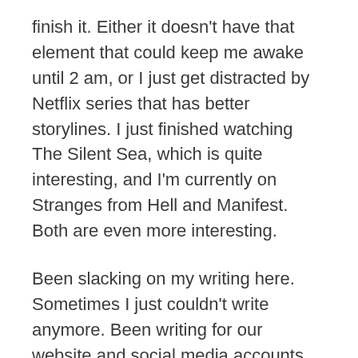finish it. Either it doesn't have that element that could keep me awake until 2 am, or I just get distracted by Netflix series that has better storylines. I just finished watching The Silent Sea, which is quite interesting, and I'm currently on Stranges from Hell and Manifest. Both are even more interesting.
Been slacking on my writing here. Sometimes I just couldn't write anymore. Been writing for our website and social media accounts, and it's mentally tiring. Also, I'm still bad at SEOs. Need to learn more.
That's all. I hope your 2022 has started well.